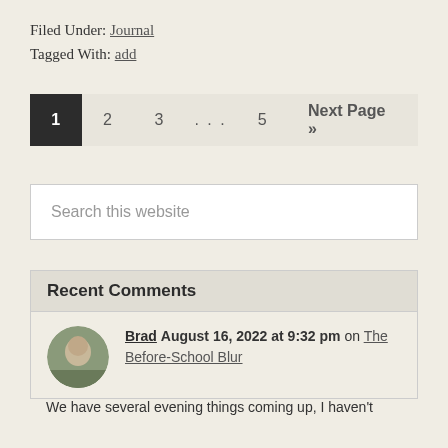Filed Under: Journal
Tagged With: add
1  2  3  ...  5  Next Page »
Search this website
Recent Comments
Brad August 16, 2022 at 9:32 pm on The Before-School Blur
We have several evening things coming up, I haven't